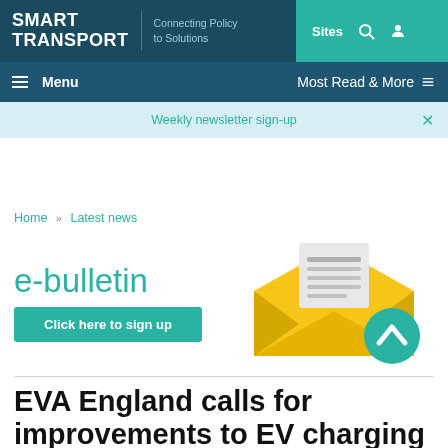SMART TRANSPORT | Connecting Policy to Solutions | Sites
Menu | Most Read & More
Weekly newsletter sign-up
Home » Latest news
[Figure (illustration): E-bulletin promotional banner with envelope icon and 'Click here to sign up' button]
EVA England calls for improvements to EV charging